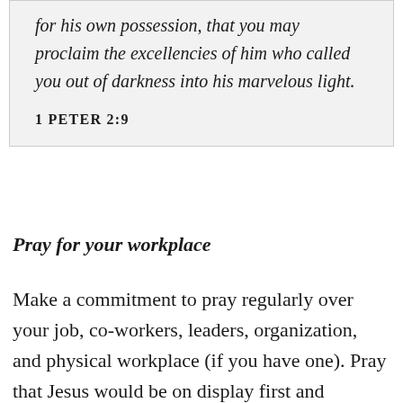for his own possession, that you may proclaim the excellencies of him who called you out of darkness into his marvelous light.
1 PETER 2:9
Pray for your workplace
Make a commitment to pray regularly over your job, co-workers, leaders, organization, and physical workplace (if you have one). Pray that Jesus would be on display first and foremost in your words and actions. Pray for hearts to be softened in order to receive the